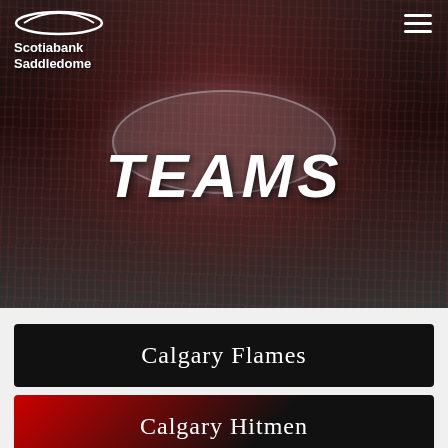[Figure (photo): Aerial view of a packed hockey arena (Scotiabank Saddledome) with red-clad crowd and ice rink visible, overlaid with the word TEAMS in large white italic bold text]
TEAMS
Scotiabank Saddledome
Calgary Flames
Calgary Hitmen